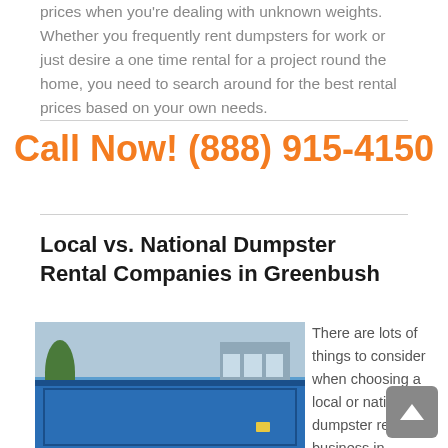prices when you're dealing with unknown weights. Whether you frequently rent dumpsters for work or just desire a one time rental for a project round the home, you need to search around for the best rental prices based on your own needs.
Call Now! (888) 915-4150
Local vs. National Dumpster Rental Companies in Greenbush
[Figure (photo): A blue dumpster in the foreground with a building and tree in the background]
There are lots of things to consider when choosing a local or national dumpster rental business in